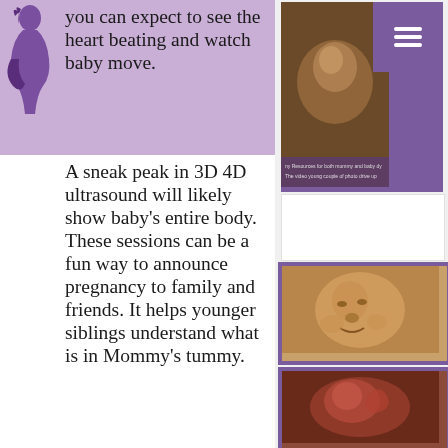[Figure (illustration): Purple pregnant woman silhouette icon on lavender background]
you can expect to see the heart beating and watch baby move. A sneak peak in 3D 4D ultrasound will likely show baby's entire body. These sessions can be a fun way to announce pregnancy to family and friends. It helps younger siblings understand what is in Mommy's tummy.
[Figure (photo): 3D/4D ultrasound image of baby face with purple overlay and hamburger menu icon]
[Figure (photo): 3D ultrasound image showing baby face in golden tones]
[Figure (photo): 3D ultrasound image showing baby in reddish tones]